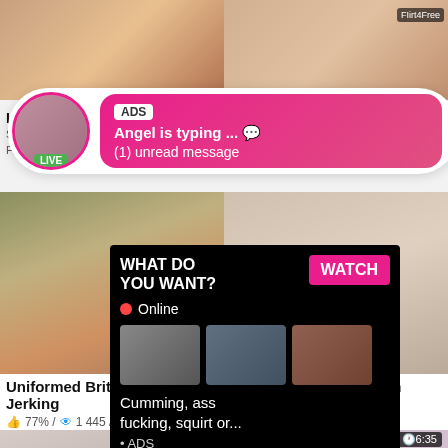[Figure (screenshot): Adult video website screenshot showing video thumbnails, live chat notification popup, and advertisement overlay]
ADS
Angel is typing ... 💬
(1) unread message
WHAT DO YOU WANT? WATCH
● Online
Cumming, ass fucking, squirt or...
• ADS
Uniformed British Cops Jerking
77% / 1 445 / 6:03
Tags: european outdoor
Beautiful Stranded Teen Fucks In
86% / 204 / 5:30
Tags: hardcore european
6:15
6:35
Live S
She will
Flirt4Free